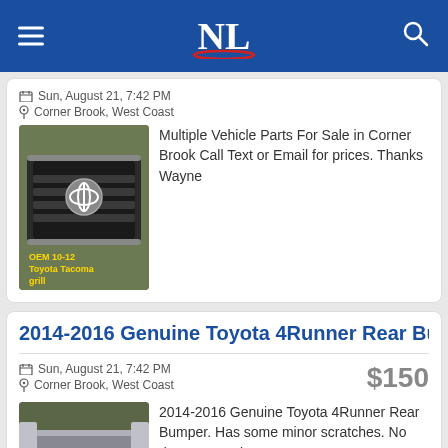NL
Sun, August 21, 7:42 PM
Corner Brook, West Coast
[Figure (photo): Toyota Tacoma OEM 10-12 grill on grass background]
Multiple Vehicle Parts For Sale in Corner Brook Call Text or Email for prices. Thanks Wayne
2014-2016 Genuine Toyota 4Runner Rear Bumpe
Sun, August 21, 7:42 PM
Corner Brook, West Coast
$150
[Figure (photo): Toyota 4Runner Bumper with some minor scratches on grass]
2014-2016 Genuine Toyota 4Runner Rear Bumper. Has some minor scratches. No dents or cracks